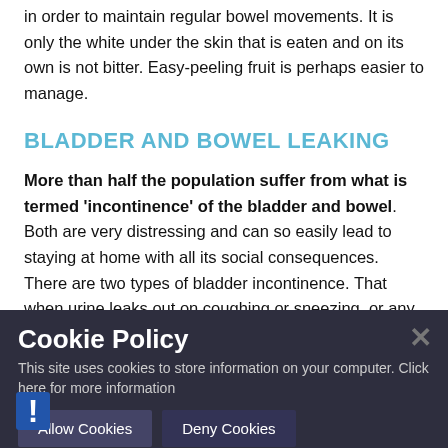in order to maintain regular bowel movements. It is only the white under the skin that is eaten and on its own is not bitter. Easy-peeling fruit is perhaps easier to manage.
BLADDER AND BOWEL LEAKING
More than half the population suffer from what is termed 'incontinence' of the bladder and bowel. Both are very distressing and can so easily lead to staying at home with all its social consequences. There are two types of bladder incontinence. That when urine leaks out on coughing or sneezing, or any extra pressure on the tummy. It is called 'stress incontinence'. The other is called 'urge incontinence' when the need to pass urine means that the urine flow can be held no longer.
There is a lot that can be done to help both conditions. To your doctor or nurse, urge incontinence or the other is both an accepted condition which both men and women
Cookie Policy
This site uses cookies to store information on your computer. Click here for more information
Allow Cookies   Deny Cookies